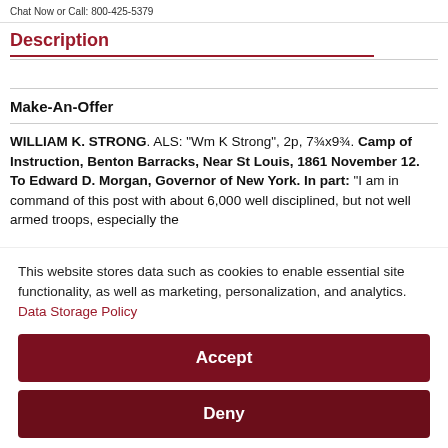Chat Now or Call: 800-425-5379
Description
Make-An-Offer
WILLIAM K. STRONG. ALS: "Wm K Strong", 2p, 7¾x9¾. Camp of Instruction, Benton Barracks, Near St Louis, 1861 November 12. To Edward D. Morgan, Governor of New York. In part: "I am in command of this post with about 6,000 well disciplined, but not well armed troops, especially the
This website stores data such as cookies to enable essential site functionality, as well as marketing, personalization, and analytics. Data Storage Policy
Accept
Deny